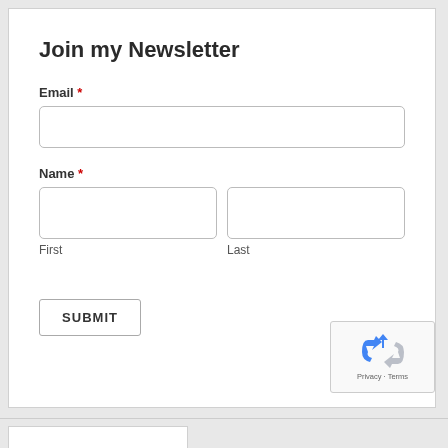Join my Newsletter
Email *
Name *
First
Last
SUBMIT
[Figure (other): reCAPTCHA badge with recycling arrows icon and Privacy · Terms text]